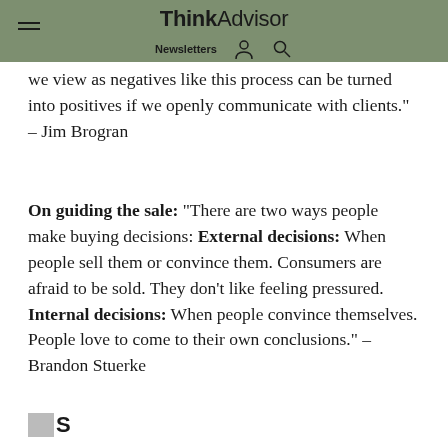ThinkAdvisor | Newsletters
we view as negatives like this process can be turned into positives if we openly communicate with clients." – Jim Brogran
On guiding the sale: “There are two ways people make buying decisions: External decisions: When people sell them or convince them. Consumers are afraid to be sold. They don’t like feeling pressured. Internal decisions: When people convince themselves. People love to come to their own conclusions.” – Brandon Stuerke